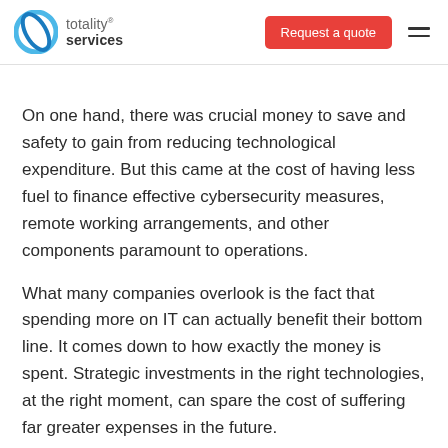totality® services — Request a quote
On one hand, there was crucial money to save and safety to gain from reducing technological expenditure. But this came at the cost of having less fuel to finance effective cybersecurity measures, remote working arrangements, and other components paramount to operations.
What many companies overlook is the fact that spending more on IT can actually benefit their bottom line. It comes down to how exactly the money is spent. Strategic investments in the right technologies, at the right moment, can spare the cost of suffering far greater expenses in the future.